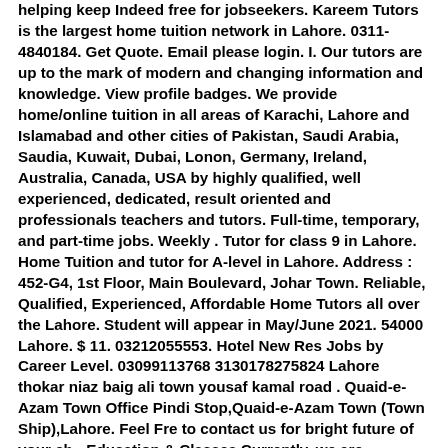helping keep Indeed free for jobseekers. Kareem Tutors is the largest home tuition network in Lahore. 0311- 4840184. Get Quote. Email please login. I. Our tutors are up to the mark of modern and changing information and knowledge. View profile badges. We provide home/online tuition in all areas of Karachi, Lahore and Islamabad and other cities of Pakistan, Saudi Arabia, Saudia, Kuwait, Dubai, Lonon, Germany, Ireland, Australia, Canada, USA by highly qualified, well experienced, dedicated, result oriented and professionals teachers and tutors. Full-time, temporary, and part-time jobs. Weekly . Tutor for class 9 in Lahore. Home Tuition and tutor for A-level in Lahore. Address : 452-G4, 1st Floor, Main Boulevard, Johar Town. Reliable, Qualified, Experienced, Affordable Home Tutors all over the Lahore. Student will appear in May/June 2021. 54000 Lahore. $ 11. 03212055553. Hotel New Res Jobs by Career Level. 03099113768 3130178275824 Lahore thokar niaz baig ali town yousaf kamal road . Quaid-e-Azam Town Office Pindi Stop,Quaid-e-Azam Town (Town Ship),Lahore. Feel Fre to contact us for bright future of your ch - Education & Classes Currently, we are operating two hostels branches in Lahore for students and professionals as well. Rs 15,000 - 70,000 | Monthly. we are successfully fulfilling the home tutor requirement in Lahore. I am an English teacher teaching students English grammar and spoken from primary, secondary and university level with huge